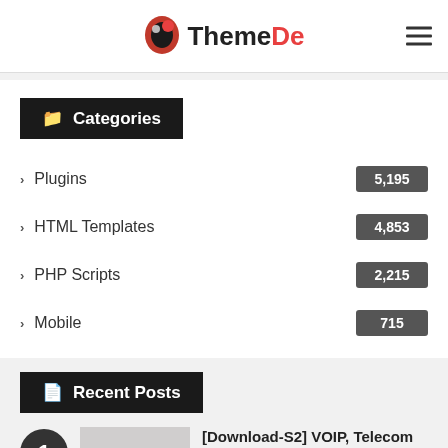You must be logged in to post a comment.
[Figure (logo): ThemeDe logo with heart/leaf icon and text 'ThemeDe' where 'De' is in red]
Categories
Plugins  5,195
HTML Templates  4,853
PHP Scripts  2,215
Mobile  715
WordPress Themes  17,037
Recent Posts
[Download-S2] VOIP, Telecom and Cloud Services HTML Template v1.0
February 18, 2020